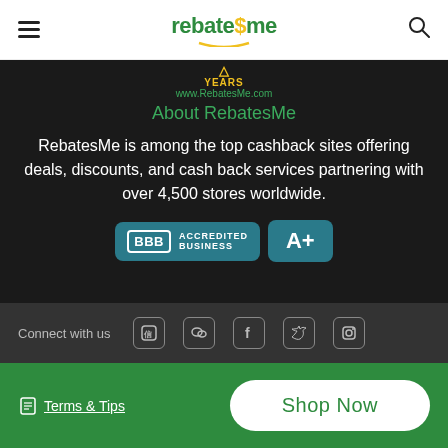rebate$me navigation header with hamburger menu and search icon
[Figure (logo): RebatesMe logo with years badge and website URL www.RebatesMe.com]
About RebatesMe
RebatesMe is among the top cashback sites offering deals, discounts, and cash back services partnering with over 4,500 stores worldwide.
[Figure (logo): BBB Accredited Business badge with A+ rating]
Connect with us
Terms & Tips | Shop Now